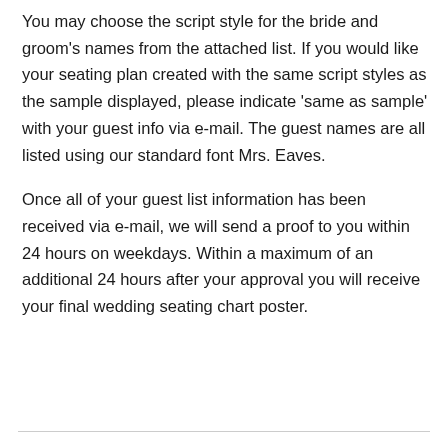You may choose the script style for the bride and groom's names from the attached list. If you would like your seating plan created with the same script styles as the sample displayed, please indicate 'same as sample' with your guest info via e-mail. The guest names are all listed using our standard font Mrs. Eaves.
Once all of your guest list information has been received via e-mail, we will send a proof to you within 24 hours on weekdays. Within a maximum of an additional 24 hours after your approval you will receive your final wedding seating chart poster.